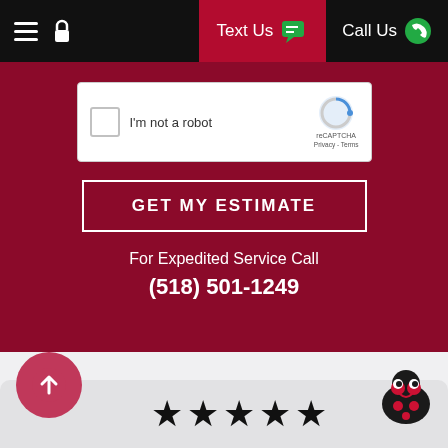Text Us | Call Us
[Figure (screenshot): reCAPTCHA widget with checkbox labeled I'm not a robot]
GET MY ESTIMATE
For Expedited Service Call
(518) 501-1249
[Figure (other): Five black stars rating display with scroll-to-top button and ladybug mascot icon]